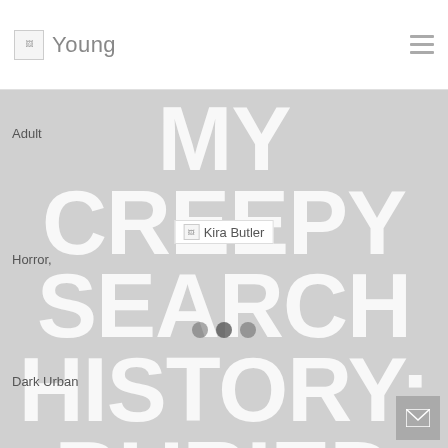Young
MY CREEPY SEARCH HISTORY: BURIED ALIVE
Adult
[Figure (photo): Author photo placeholder for Kira Butler]
Horror,
Dark Urban
Fantasy,